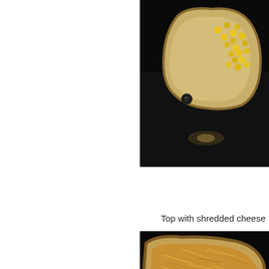[Figure (photo): Photo of a ceramic dish with small yellow corn kernels or macaroni pieces on a dark background, viewed from above, partially cropped at top-right of page.]
Top with shredded cheese
[Figure (photo): Photo of a ceramic dish covered with shredded yellow cheese on a dark background, partially cropped at bottom-right of page.]